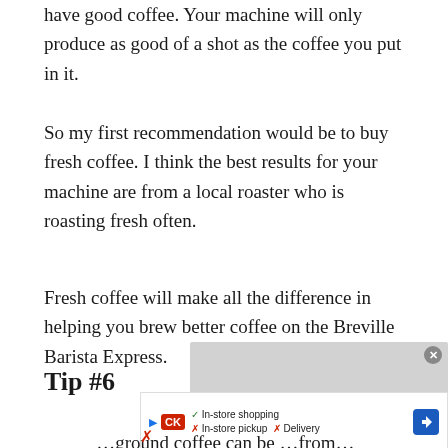have good coffee. Your machine will only produce as good of a shot as the coffee you put in it.
So my first recommendation would be to buy fresh coffee. I think the best results for your machine are from a local roaster who is roasting fresh often.
Fresh coffee will make all the difference in helping you brew better coffee on the Breville Barista Express.
Tip #6
[Figure (screenshot): Embedded video player overlay showing 'No compatible source was found for this media.' message with a close button.]
[Figure (screenshot): Advertisement banner showing store icons with checkmarks and cross marks for In-store shopping, In-store pickup, and Delivery options, with navigation and logo icons.]